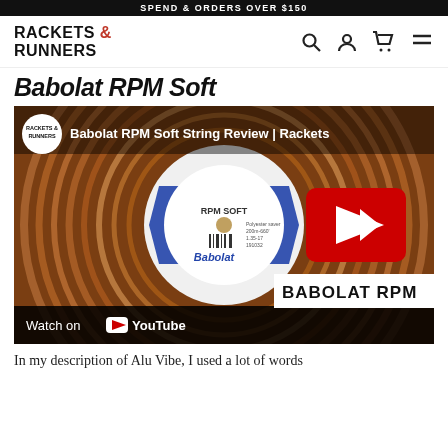SPEND & ORDERS OVER $150
RACKETS & RUNNERS
Babolat RPM Soft
[Figure (screenshot): YouTube video thumbnail showing Babolat RPM Soft tennis string reel with play button overlay. Title reads 'Babolat RPM Soft String Review | Rackets'. Bottom bar shows 'Watch on YouTube'. Lower right shows 'BABOLAT RPM' text label.]
In my description of Alu Vibe, I used a lot of words